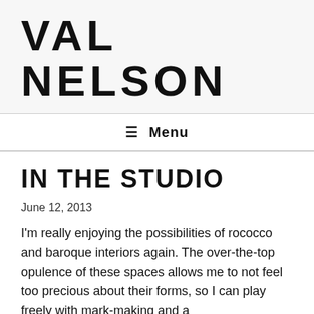VAL NELSON
☰ Menu
IN THE STUDIO
June 12, 2013
I'm really enjoying the possibilities of rococco and baroque interiors again. The over-the-top opulence of these spaces allows me to not feel too precious about their forms, so I can play freely with mark-making and a